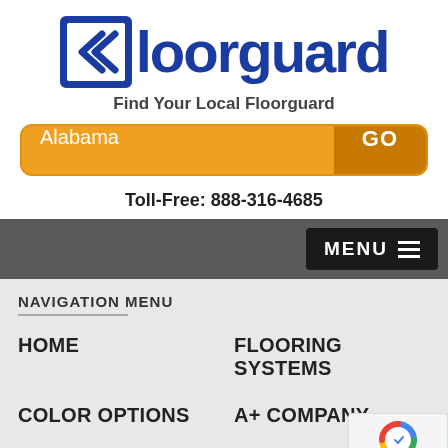[Figure (logo): Floorguard logo with blue double-arrow icon and blue bold text 'loorguard']
Find Your Local Floorguard
Alabama  GO
Toll-Free: 888-316-4685
NAVIGATION MENU
HOME
FLOORING SYSTEMS
COLOR OPTIONS
A+ COMPANY
COMMERCIAL
GALLERY